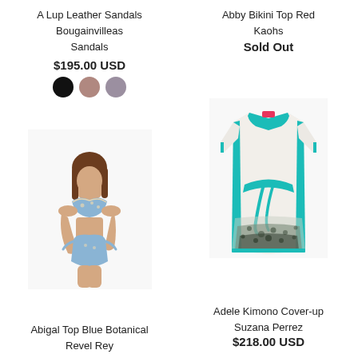A Lup Leather Sandals
Bougainvilleas
Sandals
$195.00 USD
[Figure (other): Three color swatches: black, mauve/brown, purple-grey]
Abby Bikini Top Red
Kaohs
Sold Out
[Figure (photo): Woman wearing blue floral bikini top and bottoms]
[Figure (photo): White kimono cover-up with teal/turquoise trim and dark speckled hem]
Abigal Top Blue Botanical
Revel Rey
Adele Kimono Cover-up
Suzana Perrez
$218.00 USD